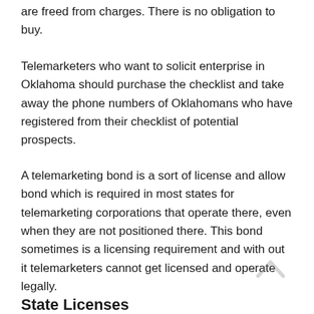are freed from charges. There is no obligation to buy.
Telemarketers who want to solicit enterprise in Oklahoma should purchase the checklist and take away the phone numbers of Oklahomans who have registered from their checklist of potential prospects.
A telemarketing bond is a sort of license and allow bond which is required in most states for telemarketing corporations that operate there, even when they are not positioned there. This bond sometimes is a licensing requirement and with out it telemarketers cannot get licensed and operate legally.
State Licenses